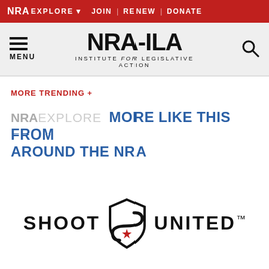NRA EXPLORE ▾  JOIN | RENEW | DONATE
[Figure (logo): NRA-ILA Institute for Legislative Action logo with menu icon and search icon]
MORE TRENDING +
NRA EXPLORE  MORE LIKE THIS FROM AROUND THE NRA
[Figure (logo): SHOOT UNITED logo with shield/arrow icon and trademark symbol]